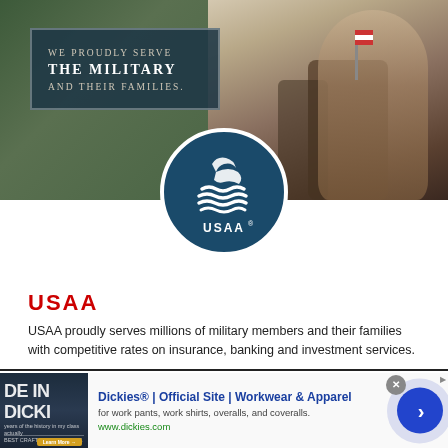[Figure (photo): Hero banner with USAA advertisement. Left side shows dark teal box with text 'WE PROUDLY SERVE THE MILITARY AND THEIR FAMILIES.' Right side shows a smiling child holding a small American flag. USAA circular logo centered at the bottom of the hero image.]
USAA
USAA proudly serves millions of military members and their families with competitive rates on insurance, banking and investment services.
[Figure (screenshot): Advertisement banner for Dickies. Shows 'Dickies® | Official Site | Workwear & Apparel' with subtitle 'for work pants, work shirts, overalls, and coveralls.' and URL 'www.dickies.com'. Includes a small product image on the left and a blue circular arrow button on the right. An X close button appears in the top right corner.]